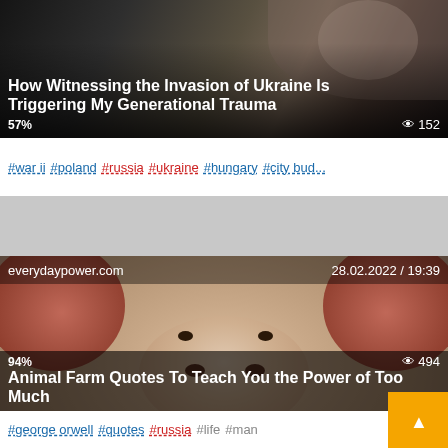[Figure (screenshot): News article card 1: dark background image with silhouette/hands, title overlay 'How Witnessing the Invasion of Ukraine Is Triggering My Generational Trauma', 57% rating, 152 views]
#war ii  #poland  #russia  #ukraine  #hungary  #city bud...
[Figure (photo): News article card 2: close-up photo of a pig face, source 'everydaypower.com', date '28.02.2022 / 19:39', title 'Animal Farm Quotes To Teach You the Power of Too Much', 94% rating, 494 views]
#george orwell  #quotes  #russia  #life  #man
[Figure (screenshot): News article card 3 (partial): dark image, source 'themighty.com', date '19.02.202...1', orange scroll-to-top button visible]